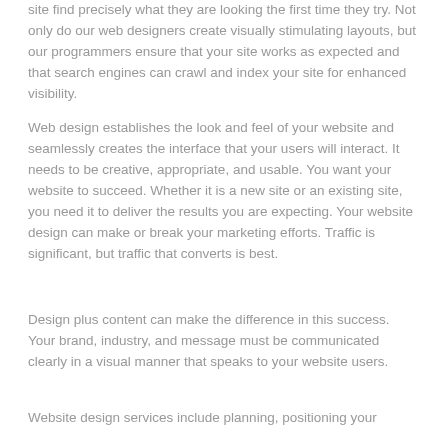site find precisely what they are looking the first time they try. Not only do our web designers create visually stimulating layouts, but our programmers ensure that your site works as expected and that search engines can crawl and index your site for enhanced visibility.
Web design establishes the look and feel of your website and seamlessly creates the interface that your users will interact. It needs to be creative, appropriate, and usable. You want your website to succeed. Whether it is a new site or an existing site, you need it to deliver the results you are expecting. Your website design can make or break your marketing efforts. Traffic is significant, but traffic that converts is best.
Design plus content can make the difference in this success. Your brand, industry, and message must be communicated clearly in a visual manner that speaks to your website users.
Website design services include planning, positioning your